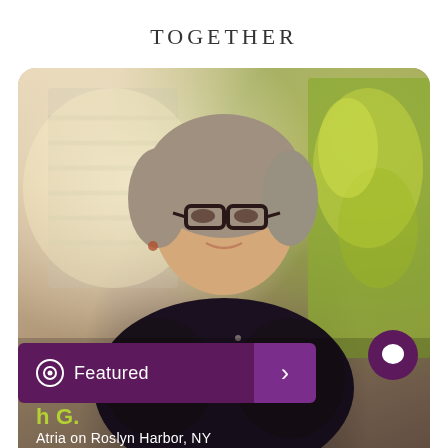TOGETHER
[Figure (photo): Elderly woman with short gray hair and dark-rimmed glasses, smiling, wearing a dark floral blouse, seated in front of a window with blinds and a colorful painting on the right. UI overlays show a 'Featured' button in dark purple with an eye icon, an arrow button in purple, a chat bubble icon, a name label 'h G.' in yellow-green, and location text 'Atria on Roslyn Harbor, NY'.]